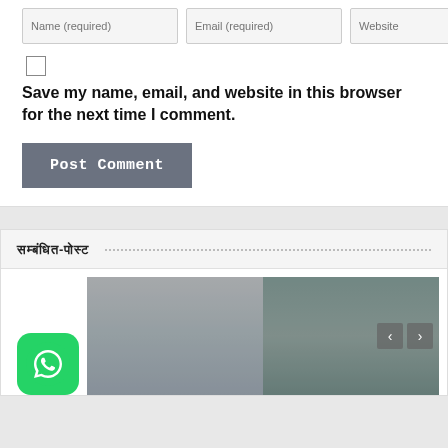Name (required)
Email (required)
Website
Save my name, email, and website in this browser for the next time I comment.
Post Comment
सम्बंधित-पोस्ट
[Figure (photo): Street scene with people, possibly a public altercation or gathering, shown as a slideshow with navigation arrows. WhatsApp share icon visible at bottom left.]